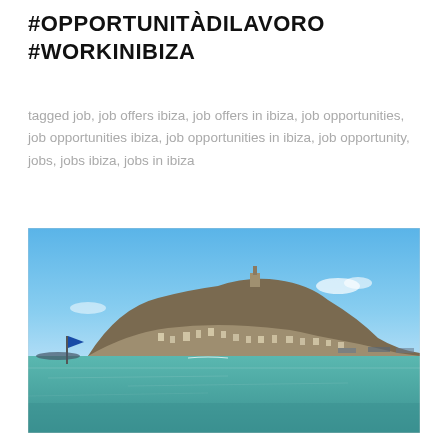#OPPORTUNITÀDILAVORO #WORKINIBIZA
tagged job, job offers ibiza, job offers in ibiza, job opportunities, job opportunities ibiza, job opportunities in ibiza, job opportunity, jobs, jobs ibiza, jobs in ibiza
[Figure (photo): Aerial/sea-level view of Ibiza town and harbour from the water, showing the hilltop old town (Dalt Vila) with its cathedral, blue sky, turquoise sea with boats and a flag in the foreground.]